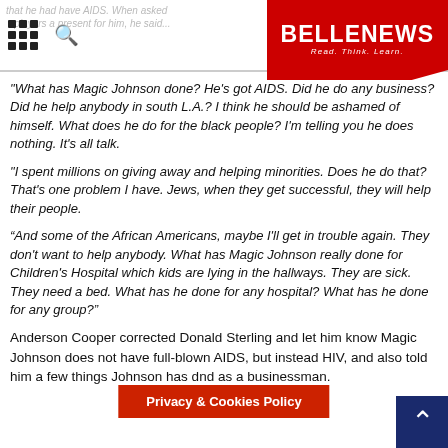BELLENEWS - Read. Think. Learn.
"What has Magic Johnson done? He's got AIDS. Did he do any business? Did he help anybody in south L.A.? I think he should be ashamed of himself. What does he do for the black people? I'm telling you he does nothing. It's all talk.
"I spent millions on giving away and helping minorities. Does he do that? That's one problem I have. Jews, when they get successful, they will help their people.
“And some of the African Americans, maybe I'll get in trouble again. They don't want to help anybody. What has Magic Johnson really done for Children's Hospital which kids are lying in the hallways. They are sick. They need a bed. What has he done for any hospital? What has he done for any group?"
Anderson Cooper corrected Donald Sterling and let him know Magic Johnson does not have full-blown AIDS, but instead HIV, and also told him a few things Johnson has done and as a businessman.